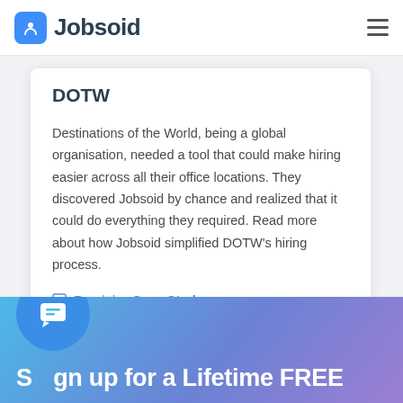Jobsoid
DOTW
Destinations of the World, being a global organisation, needed a tool that could make hiring easier across all their office locations. They discovered Jobsoid by chance and realized that it could do everything they required. Read more about how Jobsoid simplified DOTW's hiring process.
Read the Case Study
Sign up for a Lifetime FREE